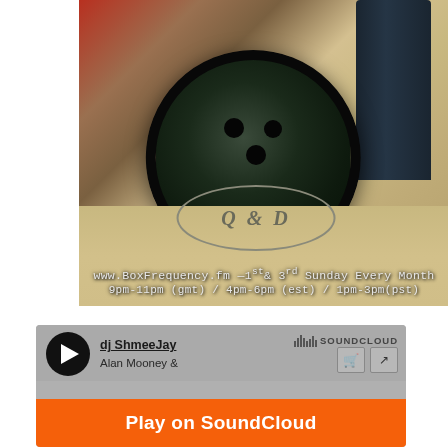[Figure (photo): Close-up photo of a rubber stamp and its ink imprint on paper. The stamp is dark/black cylindrical, and the imprint on paper shows a stylized oval logo. Overlaid white text reads: www.BoxFrequency.fm - 1st & 3rd Sunday Every Month / 9pm-11pm (gmt) / 4pm-6pm (est) / 1pm-3pm(pst)]
[Figure (screenshot): SoundCloud embedded player widget showing: dj ShmeeJay - Alan Mooney &... with play button, SoundCloud logo, cart and share icons. Below is an orange 'Play on SoundCloud' button.]